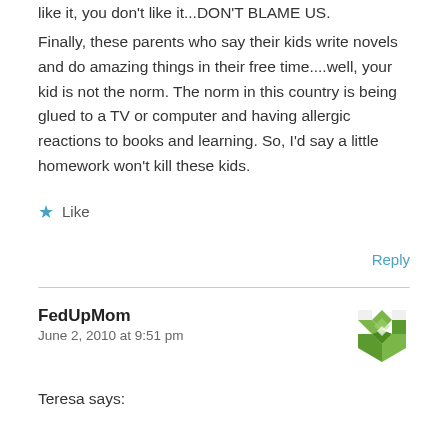like it, you don't like it...DON'T BLAME US.
Finally, these parents who say their kids write novels and do amazing things in their free time....well, your kid is not the norm. The norm in this country is being glued to a TV or computer and having allergic reactions to books and learning. So, I'd say a little homework won't kill these kids.
★ Like
Reply
FedUpMom
June 2, 2010 at 9:51 pm
Teresa says: